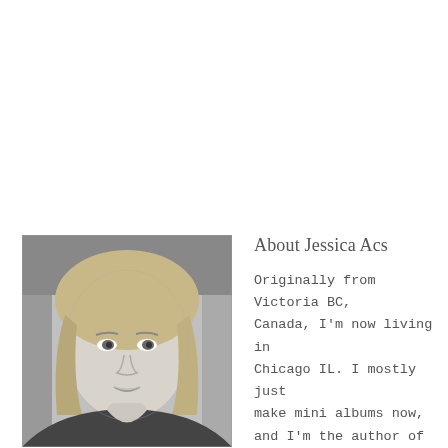[Figure (photo): Black and white portrait photo of a young woman with blonde hair, smiling slightly, facing the camera.]
About Jessica Acs
Originally from Victoria BC, Canada, I'm now living in Chicago IL. I mostly just make mini albums now, and I'm the author of